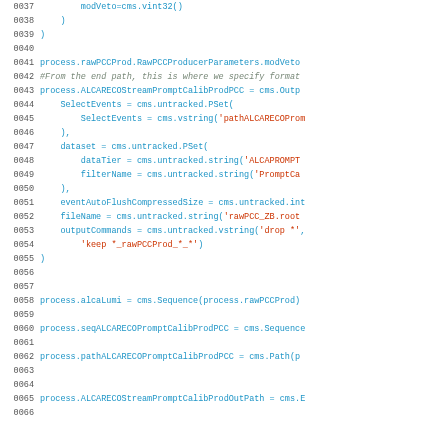[Figure (screenshot): Source code listing showing Python/CMS configuration code for a particle physics data acquisition system, with line numbers 0037-0066. Code includes process configuration for rawPCCProd, ALCARECOStreamPromptCalibProdPCC, alcaLumi, seqALCARECOPromptCalibProdPCC, pathALCARECOPromptCalibProdPCC, and ALCARECOStreamPromptCalibProdOutPath.]